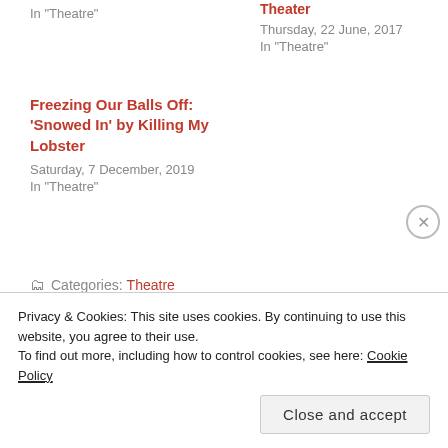In "Theatre"
Theater
Thursday, 22 June, 2017
In "Theatre"
Freezing Our Balls Off: 'Snowed In' by Killing My Lobster
Saturday, 7 December, 2019
In "Theatre"
Categories: Theatre
Tagged as: Charles Lewis III Charles S. Lewis Charles Simon Lewis III Simon Patterson, Christmas Xmas, Crappy Holidays, Daniel Heath, In For a Penny, Lisa Gentile, Merry Forking
Privacy & Cookies: This site uses cookies. By continuing to use this website, you agree to their use.
To find out more, including how to control cookies, see here: Cookie Policy
Close and accept